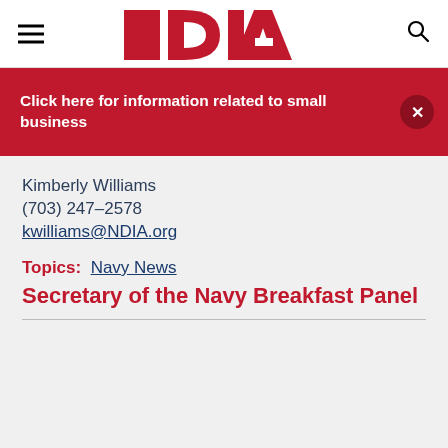[Figure (logo): NDIA logo in red bold letters with hamburger menu icon on left and search icon on right]
Click here for information related to small business
Kimberly Williams
(703) 247-2578
kwilliams@NDIA.org
Topics:  Navy News
Secretary of the Navy Breakfast Panel